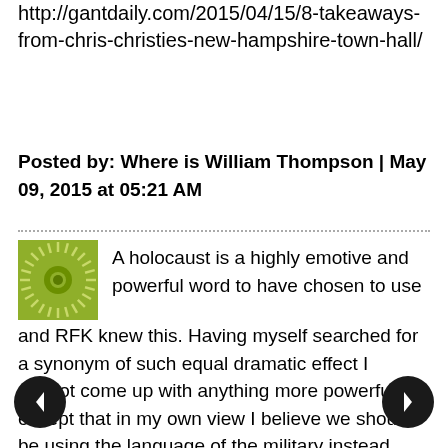http://gantdaily.com/2015/04/15/8-takeaways-from-chris-christies-new-hampshire-town-hall/
Posted by: Where is William Thompson | May 09, 2015 at 05:21 AM
A holocaust is a highly emotive and powerful word to have chosen to use and RFK knew this. Having myself searched for a synonym of such equal dramatic effect I cannot come up with anything more powerful, except that in my own view I believe we should be using the language of the military instead, because undeniably there is a covert militaristic operation taking place within this vaccine arena today.